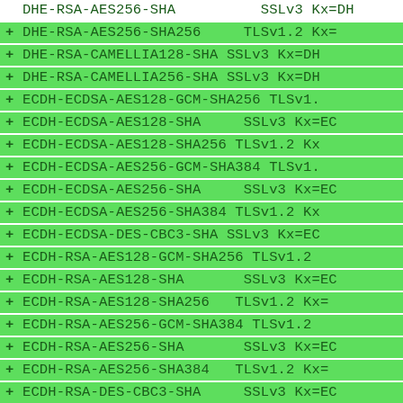DHE-RSA-AES256-SHA  SSLv3 Kx=DH
+ DHE-RSA-AES256-SHA256  TLSv1.2 Kx=
+ DHE-RSA-CAMELLIA128-SHA SSLv3 Kx=DH
+ DHE-RSA-CAMELLIA256-SHA SSLv3 Kx=DH
+ ECDH-ECDSA-AES128-GCM-SHA256 TLSv1.
+ ECDH-ECDSA-AES128-SHA  SSLv3 Kx=EC
+ ECDH-ECDSA-AES128-SHA256 TLSv1.2 Kx
+ ECDH-ECDSA-AES256-GCM-SHA384 TLSv1.
+ ECDH-ECDSA-AES256-SHA  SSLv3 Kx=EC
+ ECDH-ECDSA-AES256-SHA384 TLSv1.2 Kx
+ ECDH-ECDSA-DES-CBC3-SHA SSLv3 Kx=EC
+ ECDH-RSA-AES128-GCM-SHA256 TLSv1.2
+ ECDH-RSA-AES128-SHA  SSLv3 Kx=EC
+ ECDH-RSA-AES128-SHA256 TLSv1.2 Kx=
+ ECDH-RSA-AES256-GCM-SHA384 TLSv1.2
+ ECDH-RSA-AES256-SHA  SSLv3 Kx=EC
+ ECDH-RSA-AES256-SHA384 TLSv1.2 Kx=
+ ECDH-RSA-DES-CBC3-SHA  SSLv3 Kx=EC
+ ECDHE-ECDSA-AES128-GCM-SHA256 TLSv1